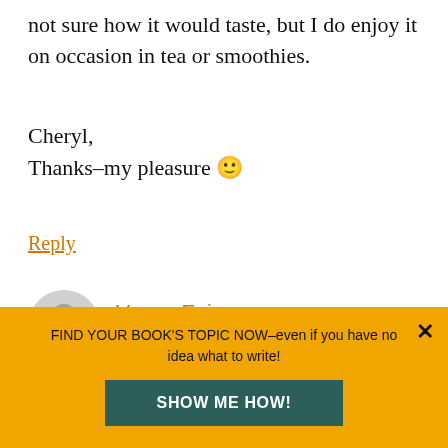not sure how it would taste, but I do enjoy it on occasion in tea or smoothies.
Cheryl,
Thanks–my pleasure 🙂
Reply
Vegan Epicurean says
January 26, 2010 at 8:42 am
Great post. I use stevia in my smoothies and
FIND YOUR BOOK'S TOPIC NOW–even if you have no idea what to write!
SHOW ME HOW!